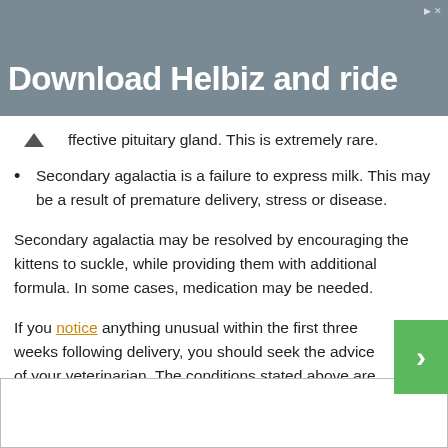[Figure (photo): Advertisement banner for Helbiz app with text 'Download Helbiz and ride' over a blurred outdoor background]
ffective pituitary gland. This is extremely rare.
Secondary agalactia is a failure to express milk. This may be a result of premature delivery, stress or disease.
Secondary agalactia may be resolved by encouraging the kittens to suckle, while providing them with additional formula. In some cases, medication may be needed.
If you notice anything unusual within the first three weeks following delivery, you should seek the advice of your veterinarian. The conditions stated above are some of the most common, but rare conditions do exist.
Related Links:
[Figure (other): Bottom advertisement area, blank white box]